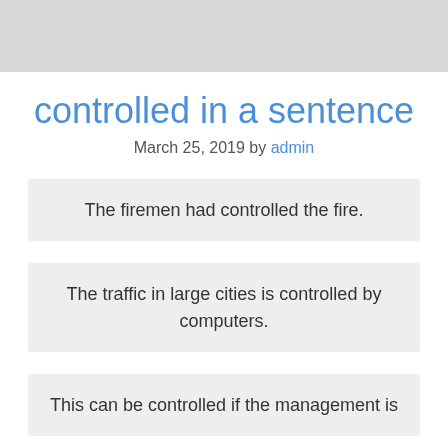controlled in a sentence
March 25, 2019 by admin
The firemen had controlled the fire.
The traffic in large cities is controlled by computers.
This can be controlled if the management is